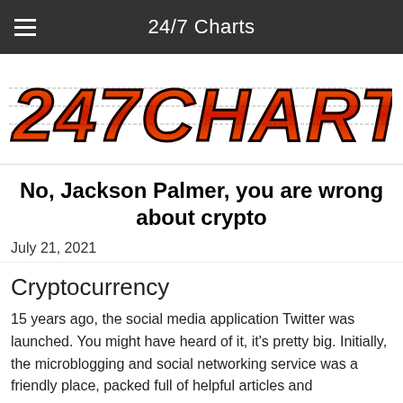24/7 Charts
[Figure (logo): 247CHARTS logo in red/orange blocky pixel-style font on white background]
No, Jackson Palmer, you are wrong about crypto
July 21, 2021
Cryptocurrency
15 years ago, the social media application Twitter was launched. You might have heard of it, it's pretty big. Initially, the microblogging and social networking service was a friendly place, packed full of helpful articles and